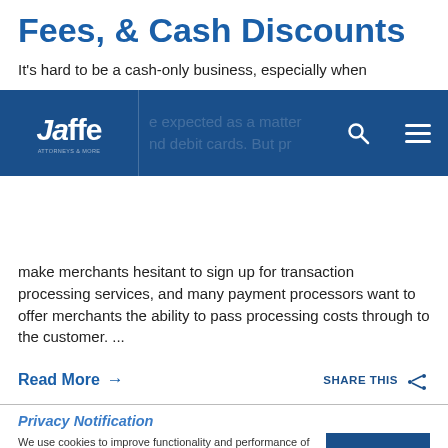Fees, & Cash Discounts
It's hard to be a cash-only business, especially when ...e expected as a matter ...nd debit cards. But pr... make merchants hesitant to sign up for transaction processing services, and many payment processors want to offer merchants the ability to pass processing costs through to the customer. ...
[Figure (screenshot): Jaffe website navigation bar overlay with logo on left and search/menu icons on right, dark blue background]
Read More →
SHARE THIS
Privacy Notification
We use cookies to improve functionality and performance of our website. By continuing to use our site, you accept our use of cookies. See our Privacy Policy for more information.